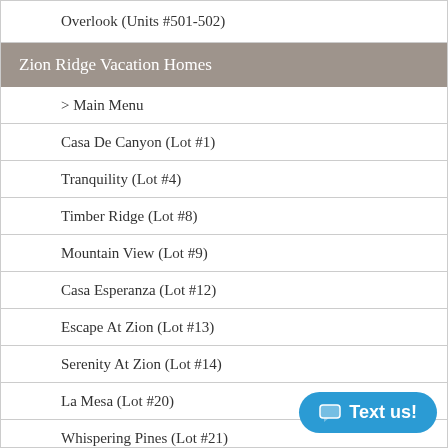Overlook (Units #501-502)
Zion Ridge Vacation Homes
> Main Menu
Casa De Canyon (Lot #1)
Tranquility (Lot #4)
Timber Ridge (Lot #8)
Mountain View (Lot #9)
Casa Esperanza (Lot #12)
Escape At Zion (Lot #13)
Serenity At Zion (Lot #14)
La Mesa (Lot #20)
Whispering Pines (Lot #21)
Juniper Mesa (Lot #22)
Angels Landing (Lot #24)